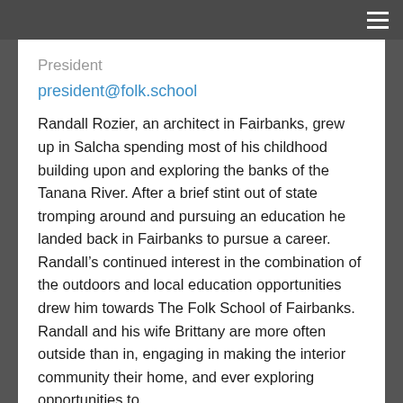≡
President
president@folk.school
Randall Rozier, an architect in Fairbanks, grew up in Salcha spending most of his childhood building upon and exploring the banks of the Tanana River. After a brief stint out of state tromping around and pursuing an education he landed back in Fairbanks to pursue a career. Randall's continued interest in the combination of the outdoors and local education opportunities drew him towards The Folk School of Fairbanks. Randall and his wife Brittany are more often outside than in, engaging in making the interior community their home, and ever exploring opportunities to